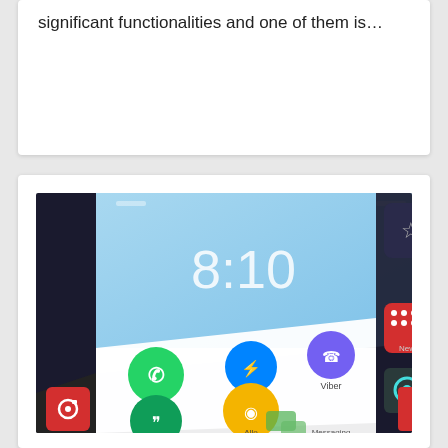significant functionalities and one of them is…
[Figure (photo): A smartphone screen showing messaging app icons including WhatsApp, Messenger, Viber, Hangouts, Allo, and Messaging apps. The phone displays time 8:10. There is a red camera button overlay in the bottom left and a red back-to-top button in the bottom right.]